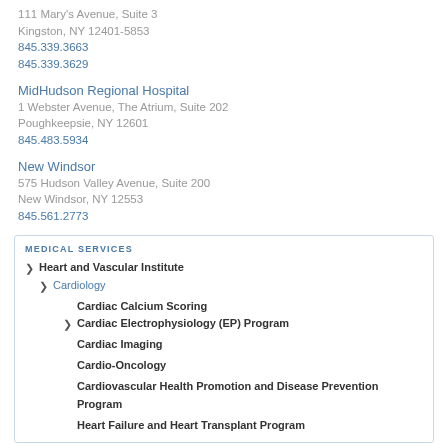111 Mary's Avenue, Suite 3
Kingston, NY 12401-5853
845.339.3663
845.339.3629
MidHudson Regional Hospital
1 Webster Avenue, The Atrium, Suite 202
Poughkeepsie, NY 12601
845.483.5934
New Windsor
575 Hudson Valley Avenue, Suite 200
New Windsor, NY 12553
845.561.2773
MEDICAL SERVICES
Heart and Vascular Institute
Cardiology
Cardiac Calcium Scoring
Cardiac Electrophysiology (EP) Program
Cardiac Imaging
Cardio-Oncology
Cardiovascular Health Promotion and Disease Prevention Program
Heart Failure and Heart Transplant Program